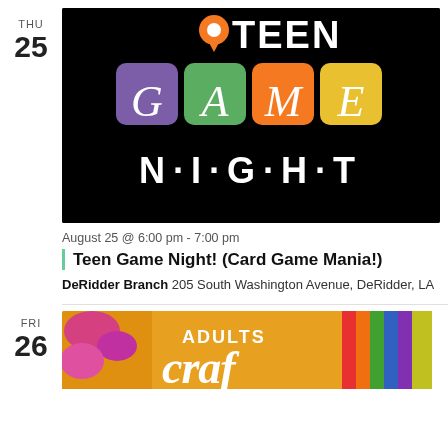THU
25
[Figure (illustration): Teen Game Night logo on black background with colorful letter tiles spelling GAME and stylized NIGHT text with dots, orange location pin above TEEN text]
August 25 @ 6:00 pm - 7:00 pm
Teen Game Night! (Card Game Mania!)
DeRidder Branch 205 South Washington Avenue, DeRidder, LA
FRI
26
[Figure (photo): Colorful craft supplies on orange background, including yarn, beaded decorations and colored paper, with partial text ADULTS CRAFT visible]